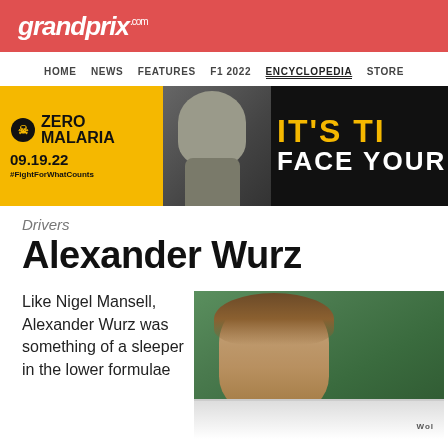grandprix.com
HOME NEWS FEATURES F1 2022 ENCYCLOPEDIA STORE
[Figure (infographic): Zero Malaria advertisement banner with David Beckham. Left yellow section shows Zero Malaria logo, date 09.19.22, hashtag #FightForWhatCounts. Right dark section shows Beckham profile photo and text IT'S TI... FACE YOUR...]
Drivers
Alexander Wurz
Like Nigel Mansell, Alexander Wurz was something of a sleeper in the lower formulae
[Figure (photo): Photo of Alexander Wurz, a racing driver with curly brown hair, wearing a white McLaren racing suit with Michelin branding]